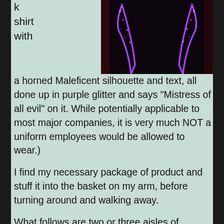[Figure (photo): Dark image showing a purple glitter Maleficent horned silhouette on a black background with red curtain edges visible]
k
shirt
with
a horned Maleficent silhouette and text, all done up in purple glitter and says "Mistress of all evil" on it. While potentially applicable to most major companies, it is very much NOT a uniform employees would be allowed to wear.)

I find my necessary package of product and stuff it into the basket on my arm, before turning around and walking away.

What follows are two or three aisles of contented bliss as I move from feminine products to beauty supplies. I need a new hair dryer, since my last one made this creepy noise and spat sparks at me in a possessed rage. Oh boy, I need shampoo too. Almost forgot that. I a